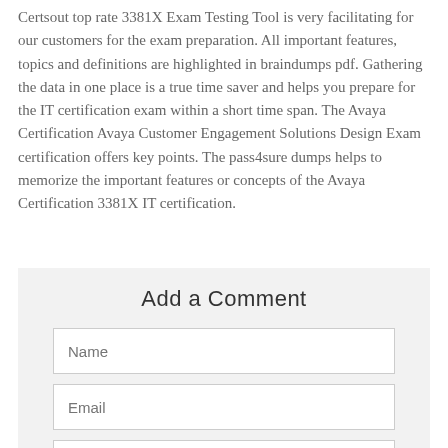Certsout top rate 3381X Exam Testing Tool is very facilitating for our customers for the exam preparation. All important features, topics and definitions are highlighted in braindumps pdf. Gathering the data in one place is a true time saver and helps you prepare for the IT certification exam within a short time span. The Avaya Certification Avaya Customer Engagement Solutions Design Exam certification offers key points. The pass4sure dumps helps to memorize the important features or concepts of the Avaya Certification 3381X IT certification.
Add a Comment
Name
Email
Add a Comment